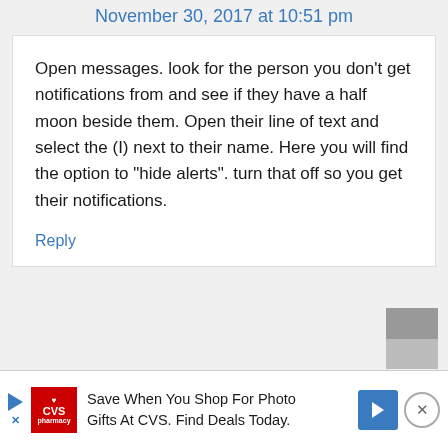November 30, 2017 at 10:51 pm
Open messages. look for the person you don't get notifications from and see if they have a half moon beside them. Open their line of text and select the (I) next to their name. Here you will find the option to "hide alerts". turn that off so you get their notifications.
Reply
Save When You Shop For Photo Gifts At CVS. Find Deals Today.